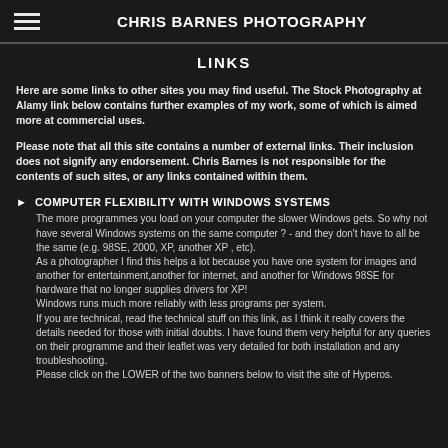CHRIS BARNES PHOTOGRAPHY
LINKS
Here are some links to other sites you may find useful. The Stock Photography at Alamy link below contains further examples of my work, some of which is aimed more at commercial uses.
Please note that all this site contains a number of external links. Their inclusion does not signify any endorsement. Chris Barnes is not responsible for the contents of such sites, or any links contained within them.
COMPUTER FLEXIBILITY WITH WINDOWS SYSTEMS
The more programmes you load on your computer the slower Windows gets. So why not have several Windows systems on the same computer ? - and they don't have to all be the same (e.g. 98SE, 2000, XP, another XP , etc).
As a photographer I find this helps a lot because you have one system for images and another for entertainment,another for internet, and another for Windows 98SE for hardware that no longer supplies drivers for XP!
Windows runs much more reliably with less programs per system.
If you are technical, read the technical stuff on this link, as I think it really covers the details needed for those with initial doubts. I have found them very helpful for any queries on their programme and their leaflet was very detailed for both installation and any troubleshooting.
Please click on the LOWER of the two banners below to visit the site of Hyperos.